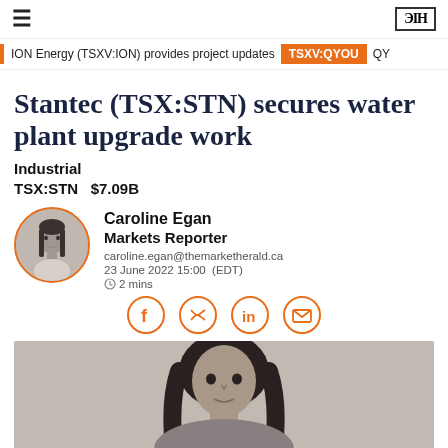≡  ЭIH
ION Energy (TSXV:ION) provides project updates  TSXV:QYOU  QY
Stantec (TSX:STN) secures water plant upgrade work
Industrial
TSX:STN   $7.09B
Caroline Egan
Markets Reporter
caroline.egan@themarketherald.ca
23 June 2022 15:00 (EDT)
⏱ 2 mins
[Figure (photo): Circular headshot of Caroline Egan, female journalist, black and white photo with orange circular border]
[Figure (photo): Black and white photo of a person, cropped at head and shoulders, bottom portion of page]